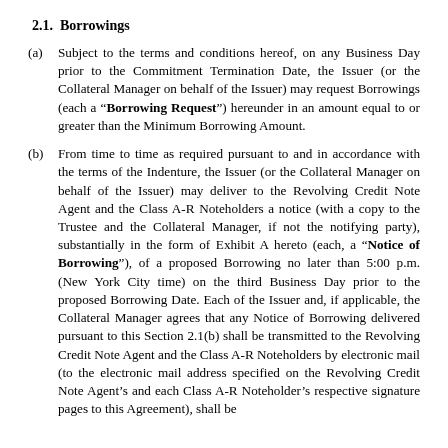2.1. Borrowings
(a) Subject to the terms and conditions hereof, on any Business Day prior to the Commitment Termination Date, the Issuer (or the Collateral Manager on behalf of the Issuer) may request Borrowings (each a “Borrowing Request”) hereunder in an amount equal to or greater than the Minimum Borrowing Amount.
(b) From time to time as required pursuant to and in accordance with the terms of the Indenture, the Issuer (or the Collateral Manager on behalf of the Issuer) may deliver to the Revolving Credit Note Agent and the Class A-R Noteholders a notice (with a copy to the Trustee and the Collateral Manager, if not the notifying party), substantially in the form of Exhibit A hereto (each, a “Notice of Borrowing”), of a proposed Borrowing no later than 5:00 p.m. (New York City time) on the third Business Day prior to the proposed Borrowing Date. Each of the Issuer and, if applicable, the Collateral Manager agrees that any Notice of Borrowing delivered pursuant to this Section 2.1(b) shall be transmitted to the Revolving Credit Note Agent and the Class A-R Noteholders by electronic mail (to the electronic mail address specified on the Revolving Credit Note Agent’s and each Class A-R Noteholder’s respective signature pages to this Agreement), shall be